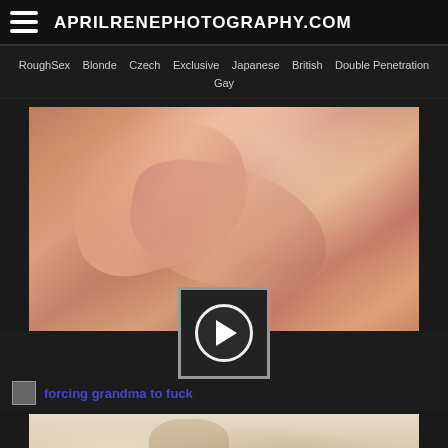APRILRENEPHOTOGRAPHY.COM
RoughSex  Blonde  Czech  Exclusive  Japanese  British  Double Penetration  Gay
[Figure (photo): Close-up flesh-tone photo, skin texture]
[Figure (photo): Play button overlay on video thumbnail]
forcing grandma to fuck
[Figure (photo): Bottom thumbnail showing person]